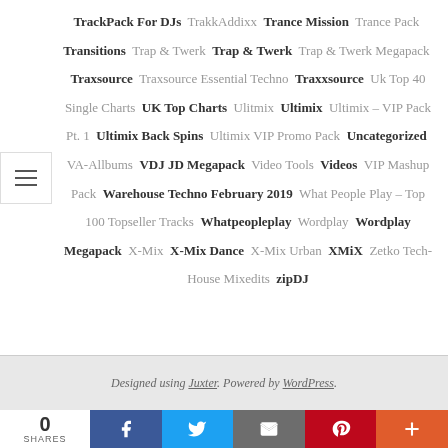TrackPack For DJs  TrakkAddixx  Trance Mission  Trance Pack  Transitions  Trap & Twerk  Trap & Twerk  Trap & Twerk Megapack  Traxsource  Traxsource Essential Techno  Traxxsource  Uk Top 40 Single Charts  UK Top Charts  Ulitmix  Ultimix  Ultimix – VIP Pack Pt. 1  Ultimix Back Spins  Ultimix VIP Promo Pack  Uncategorized  VA-Allbums  VDJ JD Megapack  Video Tools  Videos  VIP Mashup Pack  Warehouse Techno February 2019  What People Play – Top 100 Topseller Tracks  Whatpeopleplay  Wordplay  Wordplay Megapack  X-Mix  X-Mix Dance  X-Mix Urban  XMiX  Zetko Tech-House Mixedits  zipDJ
Designed using Juxter. Powered by WordPress.
0 SHARES